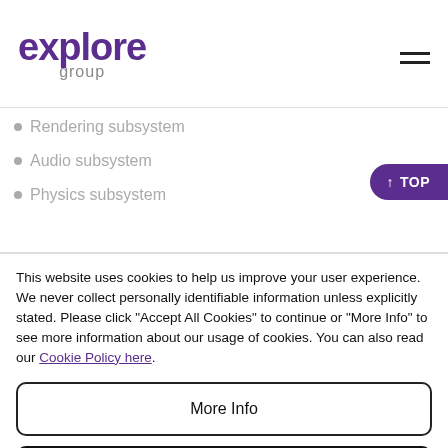explore group
Rendering subsystem
Audio subsystem
Physics subsystem
This website uses cookies to help us improve your user experience. We never collect personally identifiable information unless explicitly stated. Please click "Accept All Cookies" to continue or "More Info" to see more information about our usage of cookies. You can also read our Cookie Policy here.
More Info
Accept All Cookies